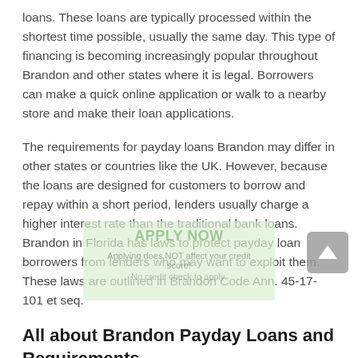loans. These loans are typically processed within the shortest time possible, usually the same day. This type of financing is becoming increasingly popular throughout Brandon and other states where it is legal. Borrowers can make a quick online application or walk to a nearby store and make their loan applications.
The requirements for payday loans Brandon may differ in other states or countries like the UK. However, because the loans are designed for customers to borrow and repay within a short period, lenders usually charge a higher interest rate than the traditional bank loans. Brandon in Florida has laws to protect payday loan borrowers from lenders who may want to exploit them. These laws are outlined in Brandon Code Ann. 45-17-101 et seq.
All about Brandon Payday Loans and Requirements